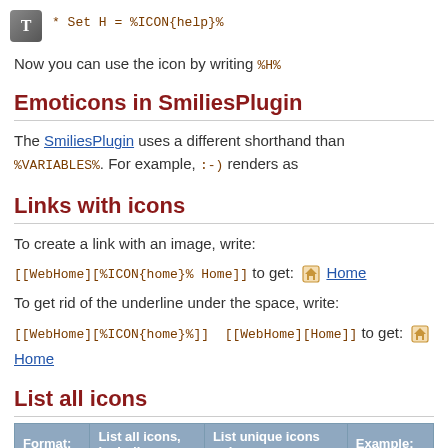* Set H = %ICON{help}%
Now you can use the icon by writing %H%
Emoticons in SmiliesPlugin
The SmiliesPlugin uses a different shorthand than %VARIABLES%. For example, :-) renders as
Links with icons
To create a link with an image, write:
[[WebHome][%ICON{home}% Home]] to get: 🏠 Home
To get rid of the underline under the space, write:
[[WebHome][%ICON{home}%]]  [[WebHome][Home]] to get: 🏠 Home
List all icons
| Format: | List all icons, including | List unique icons only: | Example: |
| --- | --- | --- | --- |